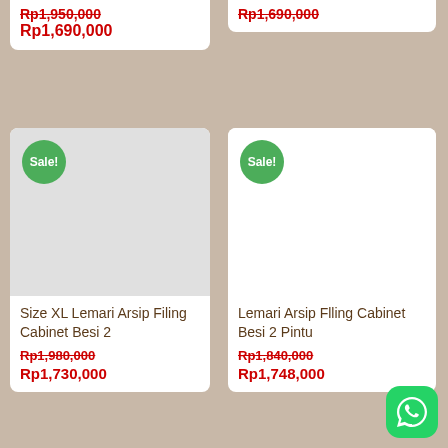[Figure (screenshot): Partial product card top-left showing strikethrough price Rp1,950,000 and sale price Rp1,690,000]
[Figure (screenshot): Partial product card top-right showing strikethrough price Rp1,690,000]
[Figure (screenshot): Product card bottom-left: Size XL Lemari Arsip Filing Cabinet Besi 2, with Sale! badge, original price Rp1,980,000 and sale price Rp1,730,000]
[Figure (screenshot): Product card bottom-right: Lemari Arsip Flling Cabinet Besi 2 Pintu, with Sale! badge, original price Rp1,840,000 and sale price Rp1,748,000]